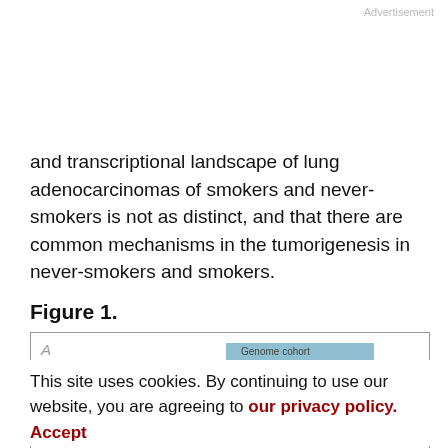Advertisement
and transcriptional landscape of lung adenocarcinomas of smokers and never-smokers is not as distinct, and that there are common mechanisms in the tumorigenesis in never-smokers and smokers.
Figure 1.
[Figure (other): Partial view of Figure 1 panel A, showing a bar element and axis labels related to copy number alterations associated with smoking.]
This site uses cookies. By continuing to use our website, you are agreeing to our privacy policy. Accept